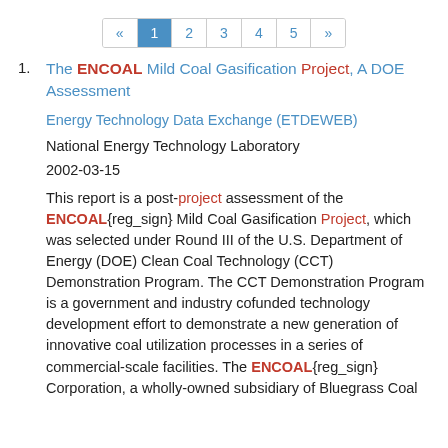« 1 2 3 4 5 »
1. The ENCOAL Mild Coal Gasification Project, A DOE Assessment

Energy Technology Data Exchange (ETDEWEB)

National Energy Technology Laboratory

2002-03-15

This report is a post-project assessment of the ENCOAL{reg_sign} Mild Coal Gasification Project, which was selected under Round III of the U.S. Department of Energy (DOE) Clean Coal Technology (CCT) Demonstration Program. The CCT Demonstration Program is a government and industry cofunded technology development effort to demonstrate a new generation of innovative coal utilization processes in a series of commercial-scale facilities. The ENCOAL{reg_sign} Corporation, a wholly-owned subsidiary of Bluegrass Coal